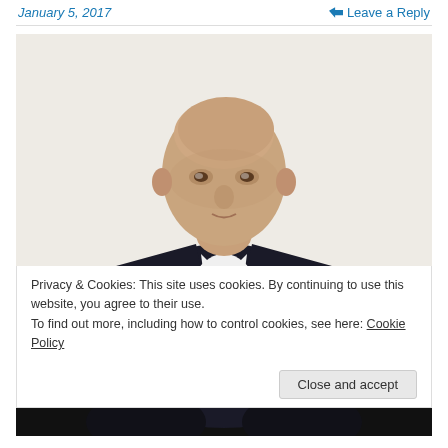January 5, 2017   Leave a Reply
[Figure (photo): Portrait photo of a bald man in a dark suit with white shirt, looking at camera, light background]
Privacy & Cookies: This site uses cookies. By continuing to use this website, you agree to their use.
To find out more, including how to control cookies, see here: Cookie Policy
Close and accept